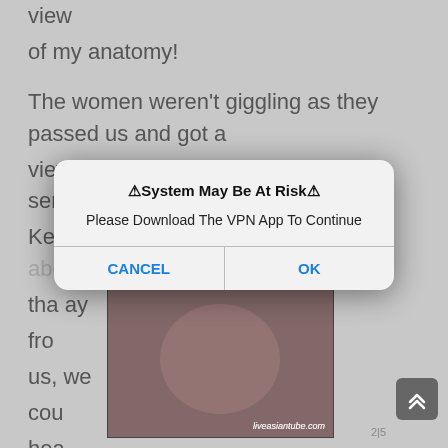view
of my anatomy!
The women weren't giggling as they passed us and got a
view of my naked penis, which was semi-erect from Keiko's attention. There's something about her and that
from
us,
we
cou
hea
[Figure (screenshot): System alert dialog popup: '⚠System May Be At Risk⚠ Please Download The VPN App To Continue' with CANCEL and OK buttons]
"Isn'
nak
uld
nev
[Figure (photo): Adult content thumbnail image with watermark liveasiantube.com]
"We
you know. It feels really good, especially to be